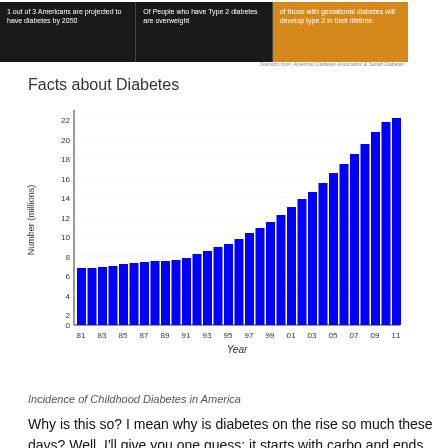[Figure (infographic): Dark banner with three panels: '1 out of 3 Americans are projected to have diabetes by 2050', 'Of People who have Type 2 diabetes are overweight', and an orange panel about developing type 2 diabetes. Credit: Statistics from American Diabetes Association & Sanafi Diabetes.]
Facts about Diabetes
[Figure (bar-chart): Incidence of Childhood Diabetes in America]
Incidence of Childhood Diabetes in America
Why is this so?   I mean why is diabetes on the rise so much these days? Well, I'll give you one guess: it starts with carbo and ends in hydrates! Our bodies were